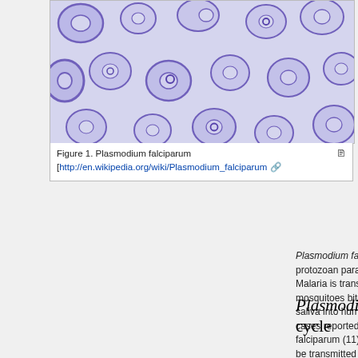[Figure (photo): Microscope image of Plasmodium falciparum-infected red blood cells, showing purple ring-form parasites inside pale/lavender blood cells on a light purple background.]
Figure 1. Plasmodium falciparum [http://en.wikipedia.org/wiki/Plasmodium_falciparum
Plasmodium falciparum Plasmodium falciparum which is a protozoan parasite that causes a devastating kind of malaria (10). Malaria is transmitted by female anopheles mosquito. When mosquitoes bite, they introduce parasites from the mosquito's saliva into humans' circulatory system. Over 75 % of the malaria cases reported in sub-Saharan Africa are caused by plasmodium falciparum (11). The ability of plasmodium parasite that allows it to be transmitted extensively comes from the fact that it develops in the red blood cells and therefore suppresses their function.
Plasmodium falciparum life cycle